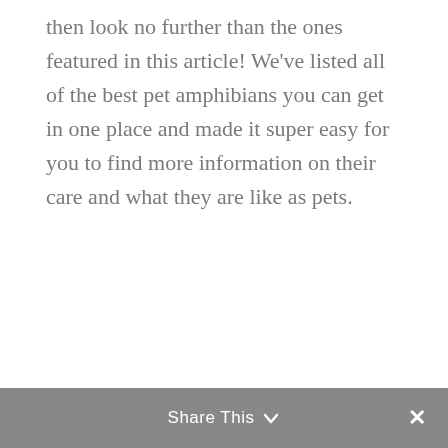then look no further than the ones featured in this article! We've listed all of the best pet amphibians you can get in one place and made it super easy for you to find more information on their care and what they are like as pets.
Share This ∨  ✕